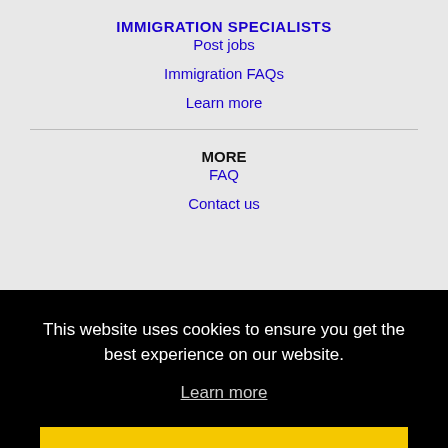IMMIGRATION SPECIALISTS
Post jobs
Immigration FAQs
Learn more
MORE
FAQ
Contact us
This website uses cookies to ensure you get the best experience on our website.
Learn more
Got it!
Hattiesburg, MS Jobs